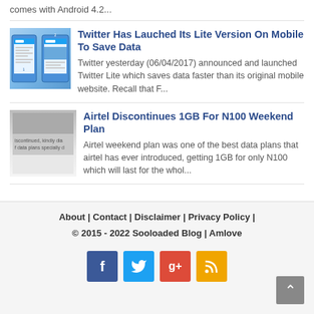comes with Android 4.2...
[Figure (screenshot): Two smartphone screens showing a Twitter-like mobile app interface with blue UI elements]
Twitter Has Lauched Its Lite Version On Mobile To Save Data
Twitter yesterday (06/04/2017) announced and launched Twitter Lite which saves data faster than its original mobile website. Recall that F...
[Figure (screenshot): Screenshot with text 'iscontinued, kindly dis' and 'f data plans specially d' visible on gray background]
Airtel Discontinues 1GB For N100 Weekend Plan
Airtel weekend plan was one of the best data plans that airtel has ever introduced, getting 1GB for only N100 which will last for the whol...
About | Contact | Disclaimer | Privacy Policy | © 2015 - 2022 Sooloaded Blog | Amlove